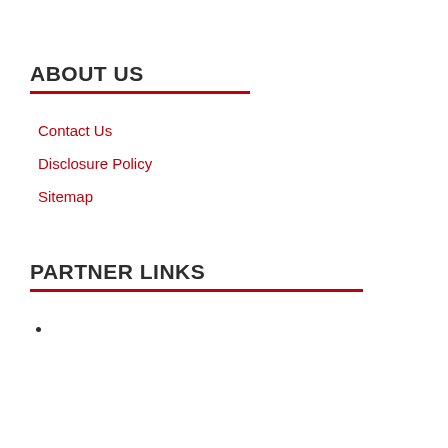ABOUT US
Contact Us
Disclosure Policy
Sitemap
PARTNER LINKS